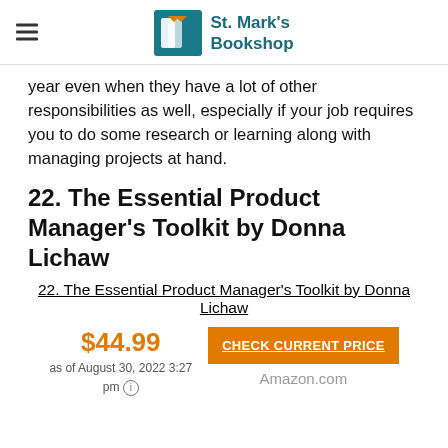St. Mark's Bookshop
year even when they have a lot of other responsibilities as well, especially if your job requires you to do some research or learning along with managing projects at hand.
22. The Essential Product Manager's Toolkit by Donna Lichaw
22. The Essential Product Manager's Toolkit by Donna Lichaw
$44.99 as of August 30, 2022 3:27 pm CHECK CURRENT PRICE Amazon.com